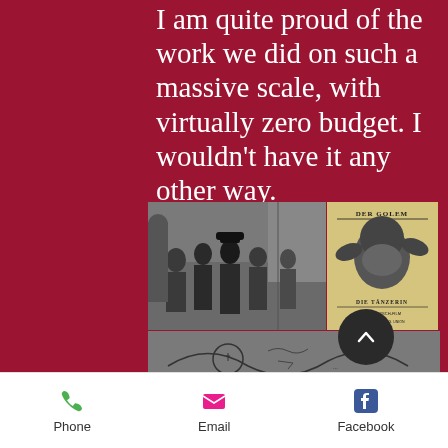I am quite proud of the work we did on such a massive scale, with virtually zero budget. I wouldn't have it any other way.
[Figure (photo): Black and white film still showing people on a set, alongside a vintage German film poster reading 'Der Golem und Die Tänzerin']
[Figure (photo): Lower image showing a sketch/drawing with handwritten text]
Phone
Email
Facebook